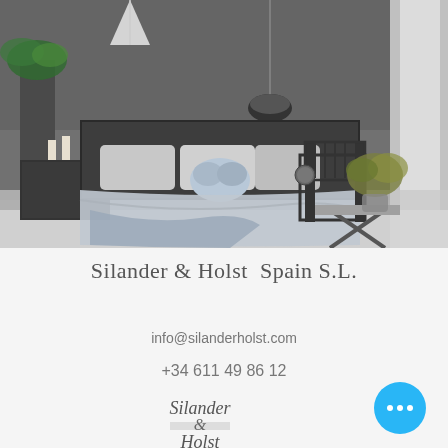[Figure (photo): Interior bedroom photo showing a stylish room with grey textured wall, a bed with white and grey bedding, pendant lights, a black chair, and a plant on a side table]
Silander & Holst  Spain S.L.
info@silanderholst.com
+34 611 49 86 12
[Figure (logo): Handwritten cursive logo text reading 'Silander & Holst']
[Figure (other): Blue circular button with three white dots (more options button)]